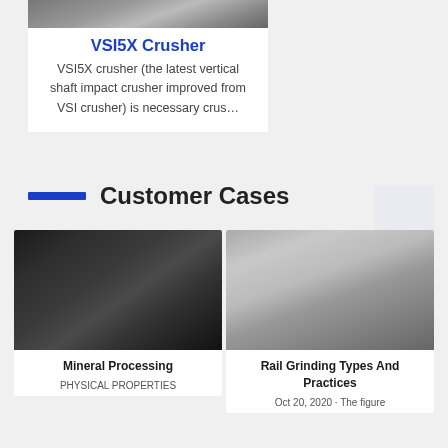[Figure (photo): Top portion of a VSI5X Crusher machine, industrial equipment photo]
VSI5X Crusher
VSI5X crusher (the latest vertical shaft impact crusher improved from VSI crusher) is necessary crus…
Customer Cases
[Figure (photo): Mineral processing machinery in an industrial facility, dark heavy equipment]
Mineral Processing
PHYSICAL PROPERTIES
[Figure (photo): Rail grinding machine in a large warehouse/indoor facility]
Rail Grinding Types And Practices
Oct 20, 2020 · The figure